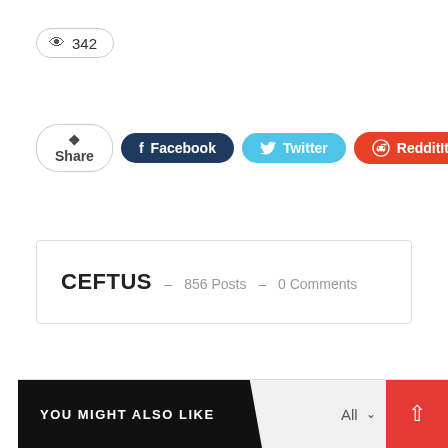342 (views)
Share  Facebook  Twitter  Reddit  +
CEFTUS  –  856 Posts  –  0 Comments
← PREV POST
Turkish News Weekly Briefing 5th-12th September 2016
NEXT POST →
First Minister of Scotland Nicola Sturgeon MSP's Anniversary Message
YOU MIGHT ALSO LIKE  All ∨